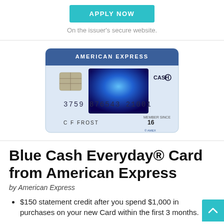[Figure (other): APPLY NOW button in teal/cyan color]
On the issuer's secure website.
[Figure (illustration): American Express Blue Cash Everyday credit card image showing card number 3759 876543 21001, cardholder name C F FROST, member since 16, with blue swirl design and EMV chip]
Blue Cash Everyday® Card from American Express
by American Express
$150 statement credit after you spend $1,000 in purchases on your new Card within the first 3 months.